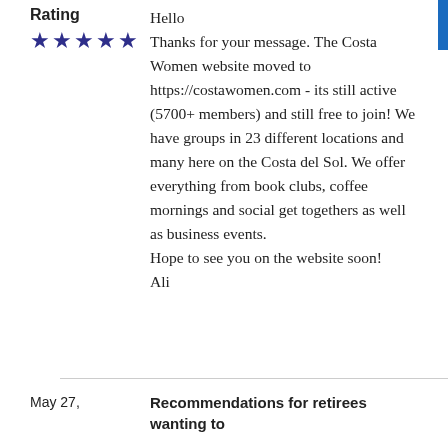Rating
★★★★★
Hello
Thanks for your message. The Costa Women website moved to https://costawomen.com - its still active (5700+ members) and still free to join! We have groups in 23 different locations and many here on the Costa del Sol. We offer everything from book clubs, coffee mornings and social get togethers as well as business events.
Hope to see you on the website soon!
Ali
May 27,
Recommendations for retirees wanting to